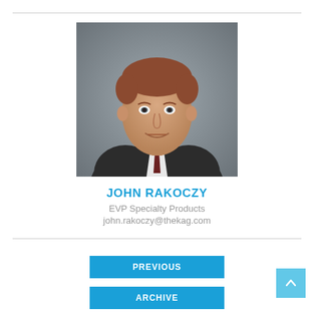[Figure (photo): Headshot portrait of John Rakoczy, a middle-aged man in a dark suit and tie, smiling, against a grey background.]
JOHN RAKOCZY
EVP Specialty Products
john.rakoczy@thekag.com
PREVIOUS
ARCHIVE